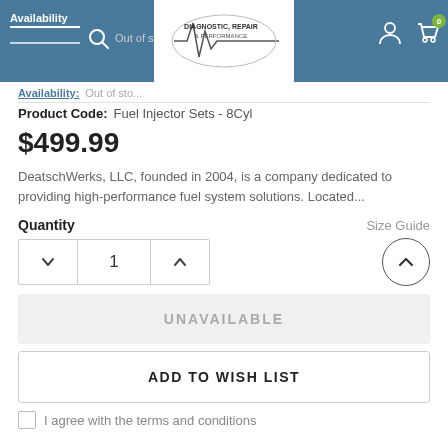Availability: Out of Stock | Diagnostic, Repair & Performance
Product Code: Fuel Injector Sets - 8Cyl
$499.99
DeatschWerks, LLC, founded in 2004, is a company dedicated to providing high-performance fuel system solutions. Located...
Quantity
Size Guide
UNAVAILABLE
ADD TO WISH LIST
I agree with the terms and conditions